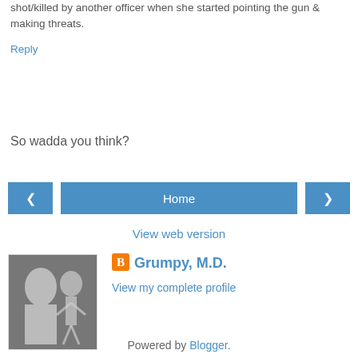shot/killed by another officer when she started pointing the gun & making threats.
Reply
So wadda you think?
< Home >
View web version
Grumpy, M.D.
View my complete profile
Powered by Blogger.